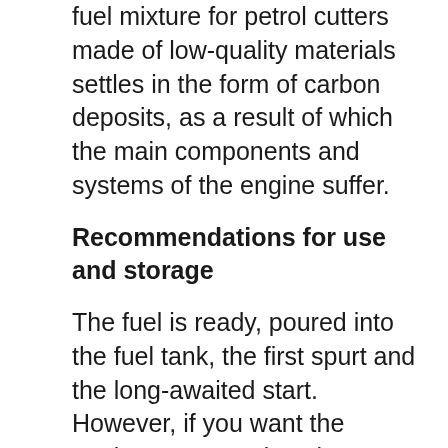fuel mixture for petrol cutters made of low-quality materials settles in the form of carbon deposits, as a result of which the main components and systems of the engine suffer.
Recommendations for use and storage
The fuel is ready, poured into the fuel tank, the first spurt and the long-awaited start. However, if you want the equipment to work as long as possible, it is recommended to run it in for the first time. To avoid overheating the engine, it is recommended to adhere to the average load. After the main elements of the system have been thoroughly lubricated, the load can be increased.
Certain rules should also be followed when preparing the braid for off-season storage: